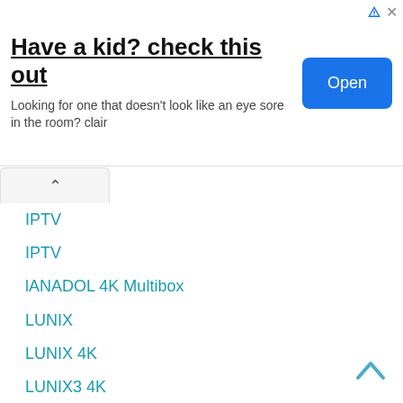[Figure (screenshot): Advertisement banner: 'Have a kid? check this out' with subtitle 'Looking for one that doesn't look like an eye sore in the room? clair' and a blue 'Open' button]
IPTV
IPTV
lANADOL 4K Multibox
LUNIX
LUNIX 4K
LUNIX3 4K
M3U
MAC
MAG
Merlin
MERLIN4